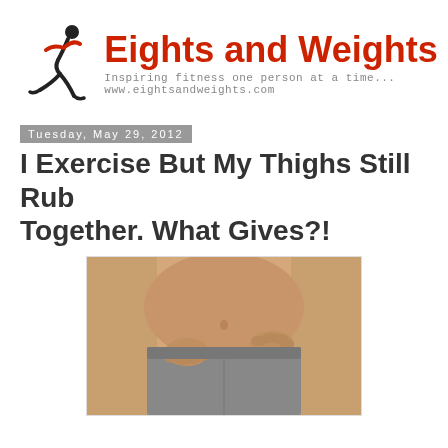[Figure (logo): Eights and Weights fitness blog logo with running figure icon, red text 'Eights and Weights', tagline 'Inspiring fitness one person at a time...' and URL www.eightsandweights.com]
Tuesday, May 29, 2012
I Exercise But My Thighs Still Rub Together. What Gives?!
[Figure (photo): Photo of a person's midsection showing hands gripping waistband of grey shorts, warm tan/brown background]